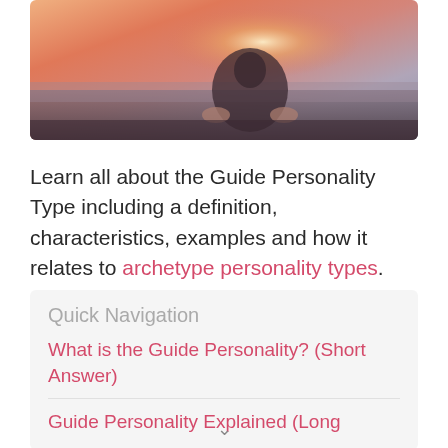[Figure (photo): Photograph of a person meditating at sunset, silhouetted against warm orange and pink sky, hands resting on knees]
Learn all about the Guide Personality Type including a definition, characteristics, examples and how it relates to archetype personality types.
Quick Navigation
What is the Guide Personality? (Short Answer)
Guide Personality Explained (Long Answer)